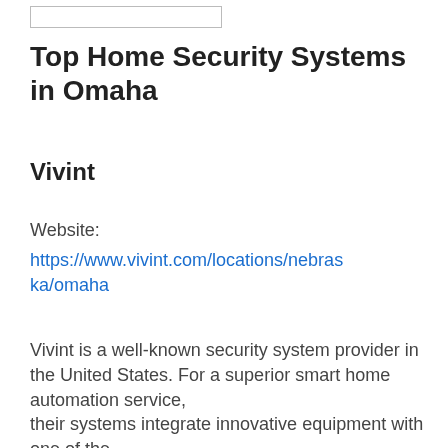[Figure (other): Small image placeholder box at top]
Top Home Security Systems in Omaha
Vivint
Website:
https://www.vivint.com/locations/nebraska/omaha
Vivint is a well-known security system provider in the United States. For a superior smart home automation service, their systems integrate innovative equipment with one of the